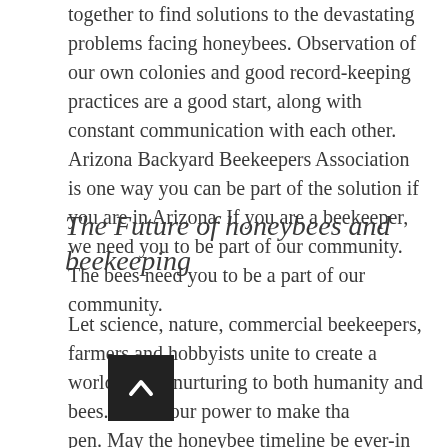together to find solutions to the devastating problems facing honeybees. Observation of our own colonies and good record-keeping practices are a good start, along with constant communication with each other. Arizona Backyard Beekeepers Association is one way you can be part of the solution if you are in Arizona. If you are a beekeeper, we need you to be part of our community. The bees need you to be a part of our community.
The Future of honeybees and beekeeping
Let science, nature, commercial beekeepers, farmers and hobbyists unite to create a world that is nurturing to both humanity and bees. It is in our power to make that happen. May the honeybee timeline be ever-increasing and honeybees be ever-evolving into a healthy species that can withstand the trials they face, and may the world work toward that end.